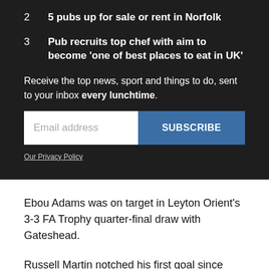2  5 pubs up for sale or rent in Norfolk
3  Pub recruits top chef with aim to become 'one of best places to eat in UK'
Receive the top news, sport and things to do, sent to your inbox every lunchtime.
Email address [input field] SUBSCRIBE
Our Privacy Policy
Ebou Adams was on target in Leyton Orient's 3-3 FA Trophy quarter-final draw with Gateshead.
Russell Martin notched his first goal since April 2017